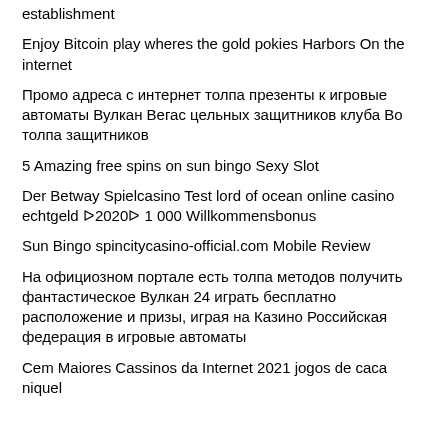establishment
Enjoy Bitcoin play wheres the gold pokies Harbors On the internet
Промо адреса с интернет толпа презенты к игровые автоматы Вулкан Вегас цельных защитников клуба Во толпа защитников
5 Amazing free spins on sun bingo Sexy Slot
Der Betway Spielcasino Test lord of ocean online casino echtgeld ᐅ2020ᐅ 1 000 Willkommensbonus
Sun Bingo spincitycasino-official.com Mobile Review
На официозном портале есть толпа методов получить фантастическое Вулкан 24 играть бесплатно расположение и призы, играя на Казино Российская федерация в игровые автоматы
Cem Maiores Cassinos da Internet 2021 jogos de caca niquel